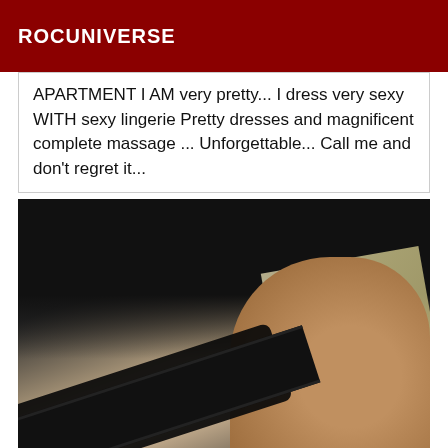ROCUNIVERSE
APARTMENT I AM very pretty... I dress very sexy WITH sexy lingerie Pretty dresses and magnificent complete massage ... Unforgettable... Call me and don't regret it...
[Figure (photo): A close-up photo showing a person wearing dark/black clothing and black lace lingerie, with skin visible and what appears to be a book or magazine in the background.]